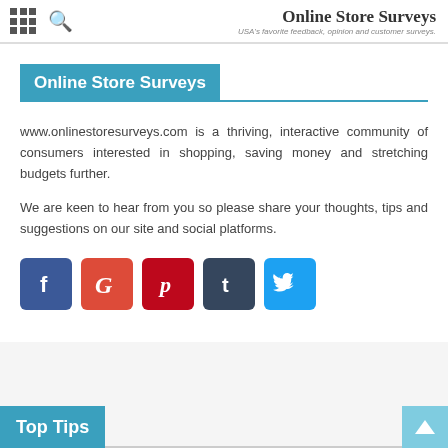Online Store Surveys — USA's favorite feedback, opinion and customer surveys.
Online Store Surveys
www.onlinestoresurveys.com is a thriving, interactive community of consumers interested in shopping, saving money and stretching budgets further.
We are keen to hear from you so please share your thoughts, tips and suggestions on our site and social platforms.
[Figure (infographic): Row of 5 social media icons: Facebook (blue), Google+ (red), Pinterest (red), Tumblr (dark blue), Twitter (light blue)]
Top Tips